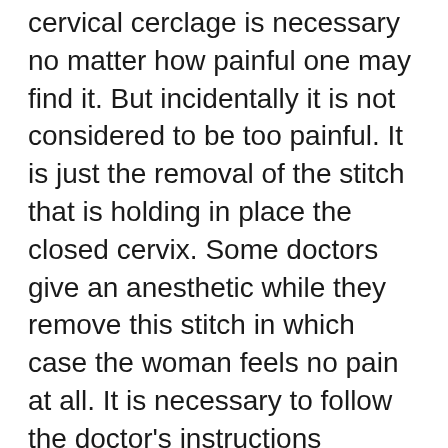cervical cerclage is necessary no matter how painful one may find it. But incidentally it is not considered to be too painful. It is just the removal of the stitch that is holding in place the closed cervix. Some doctors give an anesthetic while they remove this stitch in which case the woman feels no pain at all. It is necessary to follow the doctor's instructions implicitly and it is preferable to get the stitch out prior to going into labor.